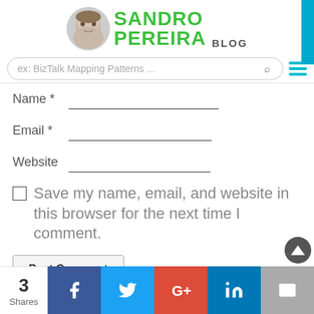[Figure (logo): Sandro Pereira Blog logo with face photo and green text]
ex: BizTalk Mapping Patterns ...
Name *
Email *
Website
Save my name, email, and website in this browser for the next time I comment.
Post Comment
3 Shares